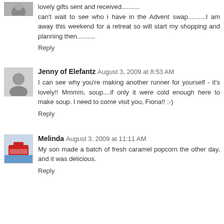lovely gifts sent and received..........
can't wait to see who i have in the Advent swap..........I am away this weekend for a retreat so will start my shopping and planning then..........
Reply
Jenny of Elefantz  August 3, 2009 at 8:53 AM
I can see why you're making another runner for yourself - it's lovely!! Mmmm, soup....if only it were cold enough here to make soup. I need to come visit you, Fiona!! ;-)
Reply
Melinda  August 3, 2009 at 11:11 AM
My son made a batch of fresh caramel popcorn the other day, and it was delicious.
Reply